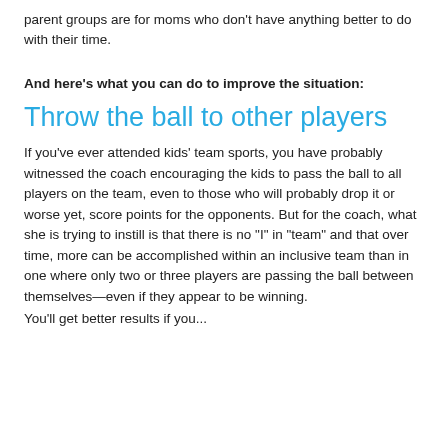parent groups are for moms who don’t have anything better to do with their time.
And here’s what you can do to improve the situation:
Throw the ball to other players
If you’ve ever attended kids’ team sports, you have probably witnessed the coach encouraging the kids to pass the ball to all players on the team, even to those who will probably drop it or worse yet, score points for the opponents. But for the coach, what she is trying to instill is that there is no “I” in “team” and that over time, more can be accomplished within an inclusive team than in one where only two or three players are passing the ball between themselves—even if they appear to be winning.
You’ll get better results if you...